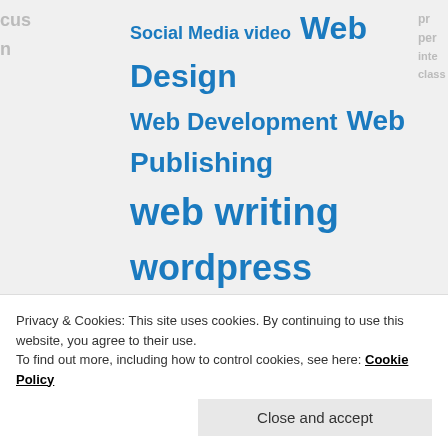Social Media video Web Design Web Development Web Publishing web writing wordpress WordPress Class wordpress themes wordpress tips Writing Writing for the Web
FOLLOW BLOG
Enter your email address
Follow Lorelle
Privacy & Cookies: This site uses cookies. By continuing to use this website, you agree to their use. To find out more, including how to control cookies, see here: Cookie Policy
Close and accept